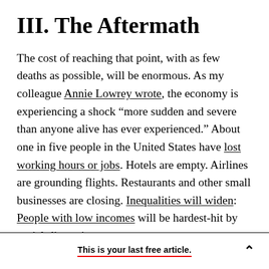III. The Aftermath
The cost of reaching that point, with as few deaths as possible, will be enormous. As my colleague Annie Lowrey wrote, the economy is experiencing a shock “more sudden and severe than anyone alive has ever experienced.” About one in five people in the United States have lost working hours or jobs. Hotels are empty. Airlines are grounding flights. Restaurants and other small businesses are closing. Inequalities will widen: People with low incomes will be hardest-hit by social-distancing measures,
This is your last free article.